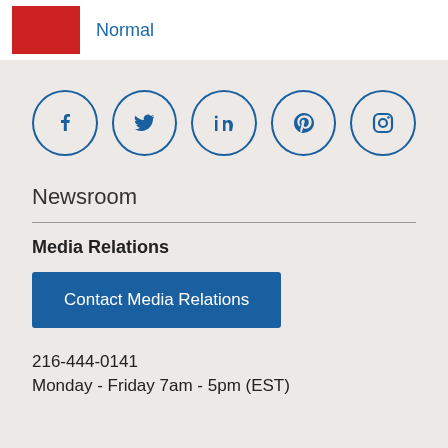[Figure (photo): Red image/logo thumbnail on left side of top bar]
Normal
[Figure (infographic): Row of five social media icon circles: Facebook, Twitter, LinkedIn, Pinterest, Instagram]
Newsroom
Media Relations
Contact Media Relations
216-444-0141
Monday - Friday 7am - 5pm (EST)